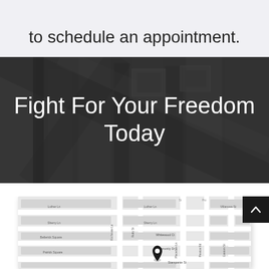to schedule an appointment.
Fight For Your Freedom Today
[Figure (map): Embedded Google Maps-style street map showing a location pin marker. Visible streets include Luther Ln, Sherry Ln, Bellerick Square, Patrick Square, Villanova St, Whitewood Ct, Community Dr, Stampante St, Preston Rd, and nearby roads. A dark location pin is dropped on Preston Rd area.]